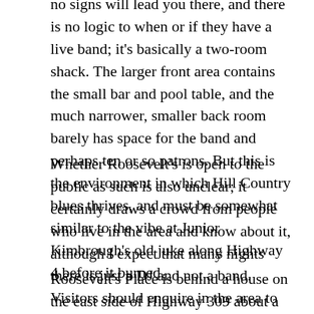no signs will lead you there, and there is no logic to when or if they have a live band; it's basically a two-room shack. The larger front area contains the small bar and pool table, and the much narrower, smaller back room barely has space for the band and perhaps ten or so patrons. But this is the environment in which Hill Country blues thrives, and must be somewhat similar to the vibe at Junior Kimbrough's old juke along Highway 4 before it burned.
Whether Roosevelt's is open to the public as such is also unclear; it certainly draws a crowd from people who live in the area and know about it, although I expect that many nights there is just a DJ and not a band. Visitors should enquire in the area to see if a band is playing.
Roosevelt's Place is behind a house on the east side of Highway 309 about a mile north of Highway 4.